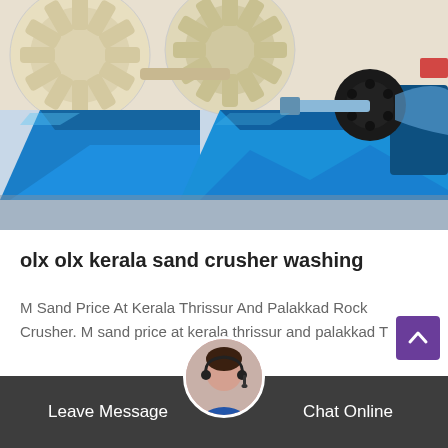[Figure (photo): Industrial blue sand washing/crushing machinery with large cylindrical drum and mechanical components in a factory setting]
olx olx kerala sand crusher washing
M Sand Price At Kerala Thrissur And Palakkad Rock Crusher. M sand price at kerala thrissur and palakkad T
Leave Message   Chat Online